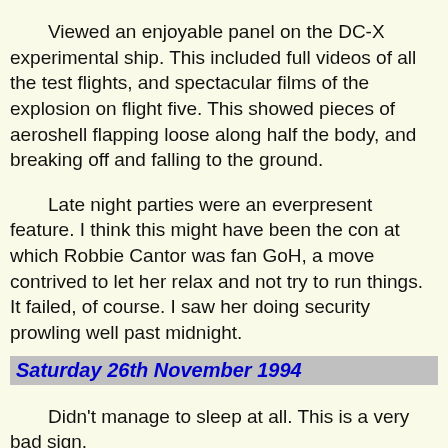attend to the table the entire time.

Viewed an enjoyable panel on the DC-X experimental ship. This included full videos of all the test flights, and spectacular films of the explosion on flight five. This showed pieces of aeroshell flapping loose along half the body, and breaking off and falling to the ground.
Late night parties were an everpresent feature. I think this might have been the con at which Robbie Cantor was fan GoH, a move contrived to let her relax and not try to run things. It failed, of course. I saw her doing security prowling well past midnight.
Saturday 26th November 1994
Didn't manage to sleep at all. This is a very bad sign.
No food to be found anywhere nearby. Actually, no nothing to be found. I was beginning to think I might be reduced to airport food.
We started putting out material for the Australia in 1999 party at 6 p.m., and rescued the display from the main conference building, so that it could